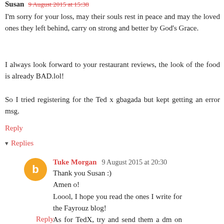Susan  9 August 2015 at 15:38 (partial, cut off)
I'm sorry for your loss, may their souls rest in peace and may the loved ones they left behind, carry on strong and better by God's Grace.
I always look forward to your restaurant reviews, the look of the food is already BAD.lol!
So I tried registering for the Ted x gbagada but kept getting an error msg.
Reply
▾ Replies
Tuke Morgan   9 August 2015 at 20:30
Thank you Susan :)
Amen o!
Loool, I hope you read the ones I write for the Fayrouz blog!
As for TedX, try and send them a dm on insta or twitter or tweet at them or leave a comment on their Instagram page.
Reply